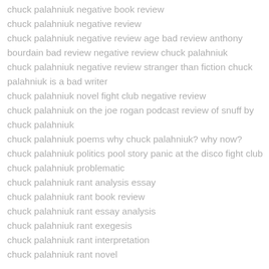chuck palahniuk negative book review
chuck palahniuk negative review
chuck palahniuk negative review age bad review anthony bourdain bad review negative review chuck palahniuk
chuck palahniuk negative review stranger than fiction chuck palahniuk is a bad writer
chuck palahniuk novel fight club negative review
chuck palahniuk on the joe rogan podcast review of snuff by chuck palahniuk
chuck palahniuk poems why chuck palahniuk? why now?
chuck palahniuk politics pool story panic at the disco fight club
chuck palahniuk problematic
chuck palahniuk rant analysis essay
chuck palahniuk rant book review
chuck palahniuk rant essay analysis
chuck palahniuk rant exegesis
chuck palahniuk rant interpretation
chuck palahniuk rant novel